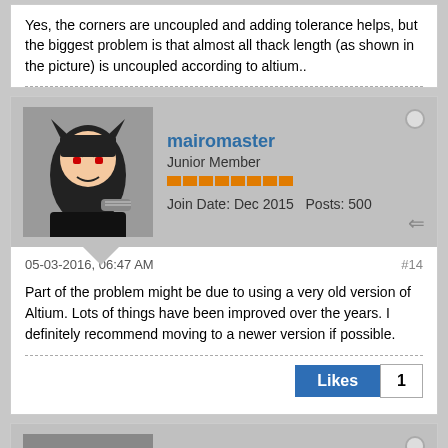Yes, the corners are uncoupled and adding tolerance helps, but the biggest problem is that almost all thack length (as shown in the picture) is uncoupled according to altium..
[Figure (illustration): Forum user avatar for mairomaster: cartoon character with dark hair]
mairomaster
Junior Member
Join Date: Dec 2015   Posts: 500
05-03-2016, 06:47 AM
#14
Part of the problem might be due to using a very old version of Altium. Lots of things have been improved over the years. I definitely recommend moving to a newer version if possible.
Likes 1
[Figure (photo): Forum user avatar for robertferanec: black and white photo of man with glasses]
robertferanec
Administrator
Join Date: Aug 2015   Posts: 4401